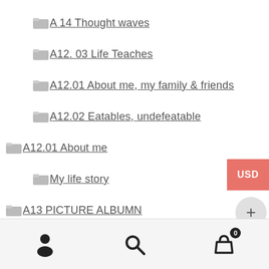A 14 Thought waves
A12. 03 Life Teaches
A12.01 About me, my family & friends
A12.02 Eatables, undefeatable
A12.01 About me
My life story
A13 PICTURE ALBUMN
A13–PICTURE ALBUM
A15 thought waves
A15 thought waves, light, strong
Everything is NEVER lost